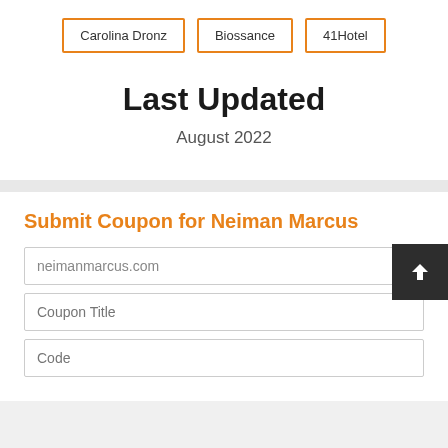Carolina Dronz
Biossance
41Hotel
Last Updated
August 2022
Submit Coupon for Neiman Marcus
neimanmarcus.com
Coupon Title
Code